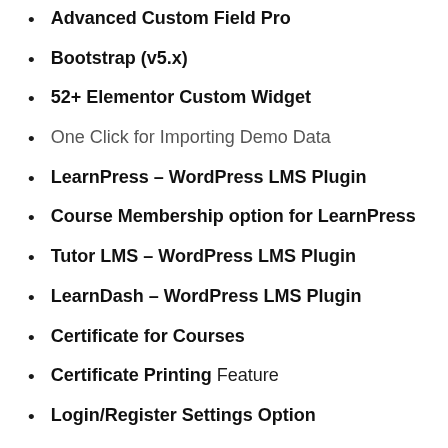Advanced Custom Field Pro
Bootstrap (v5.x)
52+ Elementor Custom Widget
One Click for Importing Demo Data
LearnPress – WordPress LMS Plugin
Course Membership option for LearnPress
Tutor LMS – WordPress LMS Plugin
LearnDash – WordPress LMS Plugin
Certificate for Courses
Certificate Printing Feature
Login/Register Settings Option
Grading System Feature
Content Drip Feature